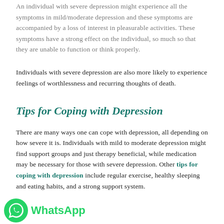An individual with severe depression might experience all the symptoms in mild/moderate depression and these symptoms are accompanied by a loss of interest in pleasurable activities. These symptoms have a strong effect on the individual, so much so that they are unable to function or think properly.
Individuals with severe depression are also more likely to experience feelings of worthlessness and recurring thoughts of death.
Tips for Coping with Depression
There are many ways one can cope with depression, all depending on how severe it is. Individuals with mild to moderate depression might find support groups and just therapy beneficial, while medication may be necessary for those with severe depression. Other tips for coping with depression include regular exercise, healthy sleeping and eating habits, and a strong support system.